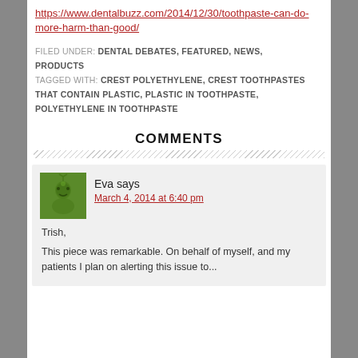https://www.dentalbuzz.com/2014/12/30/toothpaste-can-do-more-harm-than-good/
FILED UNDER: DENTAL DEBATES, FEATURED, NEWS, PRODUCTS
TAGGED WITH: CREST POLYETHYLENE, CREST TOOTHPASTES THAT CONTAIN PLASTIC, PLASTIC IN TOOTHPASTE, POLYETHYLENE IN TOOTHPASTE
COMMENTS
Eva says
March 4, 2014 at 6:40 pm
Trish,

This piece was remarkable. On behalf of myself, and my patients I plan on alerting this issue to...